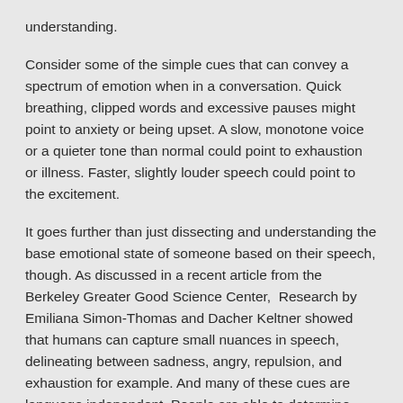understanding.
Consider some of the simple cues that can convey a spectrum of emotion when in a conversation. Quick breathing, clipped words and excessive pauses might point to anxiety or being upset. A slow, monotone voice or a quieter tone than normal could point to exhaustion or illness. Faster, slightly louder speech could point to the excitement.
It goes further than just dissecting and understanding the base emotional state of someone based on their speech, though. As discussed in a recent article from the Berkeley Greater Good Science Center,  Research by Emiliana Simon-Thomas and Dacher Keltner showed that humans can capture small nuances in speech, delineating between sadness, angry, repulsion, and exhaustion for example. And many of these cues are language independent. People are able to determine emotional state even when they are not fluent in the language being spoken.